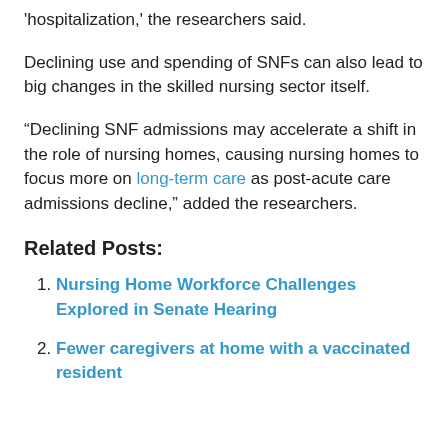'hospitalization,' the researchers said.
Declining use and spending of SNFs can also lead to big changes in the skilled nursing sector itself.
“Declining SNF admissions may accelerate a shift in the role of nursing homes, causing nursing homes to focus more on long-term care as post-acute care admissions decline,” added the researchers.
Related Posts:
Nursing Home Workforce Challenges Explored in Senate Hearing
Fewer caregivers at home with a vaccinated resident